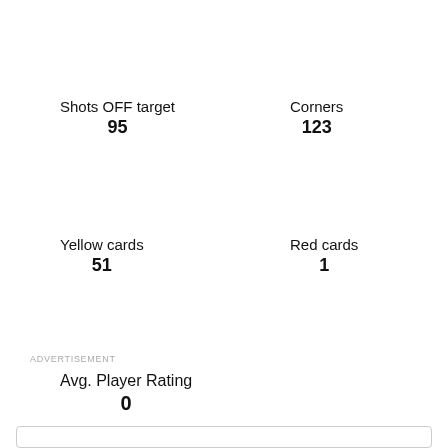Shots OFF target
95
Corners
123
Yellow cards
51
Red cards
1
ADVERTISEMENT
Avg. Player Rating
0